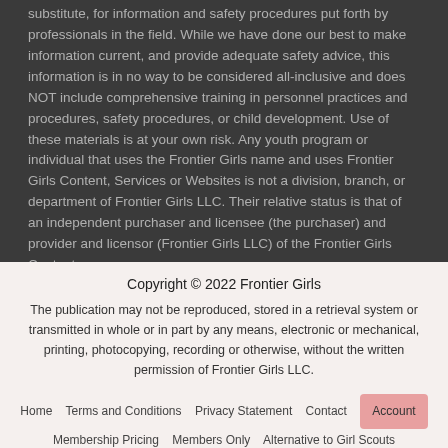substitute, for information and safety procedures put forth by professionals in the field. While we have done our best to make information current, and provide adequate safety advice, this information is in no way to be considered all-inclusive and does NOT include comprehensive training in personnel practices and procedures, safety procedures, or child development. Use of these materials is at your own risk. Any youth program or individual that uses the Frontier Girls name and uses Frontier Girls Content, Services or Websites is not a division, branch, or department of Frontier Girls LLC. Their relative status is that of an independent purchaser and licensee (the purchaser) and provider and licensor (Frontier Girls LLC) of the Frontier Girls Content.
Copyright © 2022 Frontier Girls
The publication may not be reproduced, stored in a retrieval system or transmitted in whole or in part by any means, electronic or mechanical, printing, photocopying, recording or otherwise, without the written permission of Frontier Girls LLC.
Home   Terms and Conditions   Privacy Statement   Contact   Account   Membership Pricing   Members Only   Alternative to Girl Scouts